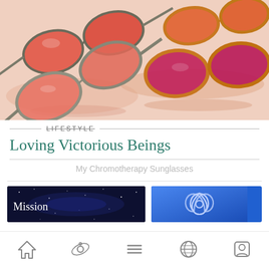[Figure (photo): Multiple pairs of sunglasses with colored lenses (pink/red/orange) and tortoiseshell and silver frames laid out on a white surface]
LIFESTYLE
Loving Victorious Beings
My Chromotherapy Sunglasses
[Figure (photo): Card showing 'Mission' text over a dark starry night sky background]
[Figure (illustration): Blue card with a triquetra/trinity knot symbol]